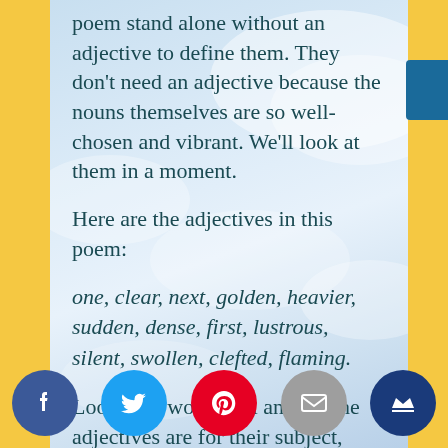poem stand alone without an adjective to define them. They don't need an adjective because the nouns themselves are so well-chosen and vibrant. We'll look at them in a moment.
Here are the adjectives in this poem:
one, clear, next, golden, heavier, sudden, dense, first, lustrous, silent, swollen, clefted, flaming.
Look how wonderful and apt the adjectives are for their subject, t    ach. An    e same t       vid they    s words,
[Figure (infographic): Social media sharing icons at the bottom of the page: Facebook (blue circle), Twitter (light blue circle), Pinterest (red circle), Email (grey circle), Crown/premium icon (dark blue circle)]